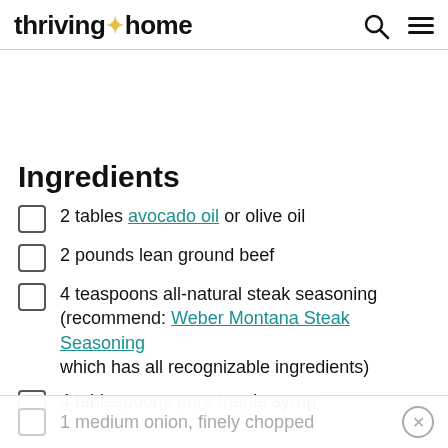thriving home
Ingredients
2 tables avocado oil or olive oil
2 pounds lean ground beef
4 teaspoons all-natural steak seasoning (recommend: Weber Montana Steak Seasoning which has all recognizable ingredients)
4 tablespoons pure maple syrup
1 medium onion, finely chopped